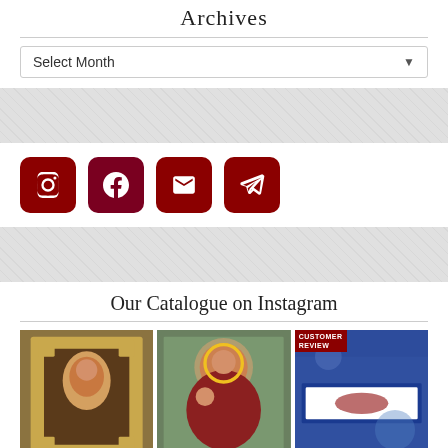Archives
Select Month
[Figure (other): Social media icons: Instagram, Facebook, Email, Telegram — dark red rounded square buttons]
Our Catalogue on Instagram
[Figure (photo): Ornate wooden icon frame with image of Christ]
[Figure (photo): Painted icon of Virgin Mary holding infant Jesus with golden halo]
[Figure (photo): Customer review photo showing woman holding blue religious banner/tapestry]
[Figure (photo): Bottom row left: partial photo of dark religious item]
[Figure (photo): Bottom row center: partial photo of gold religious item]
[Figure (photo): Bottom row right: partial photo of religious item]